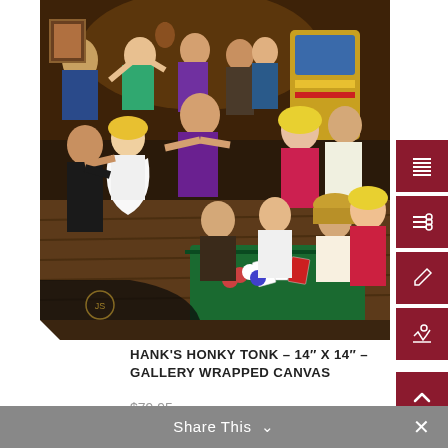[Figure (illustration): Painting showing a lively honky-tonk bar scene with people dancing, playing cards at a table, a jukebox in the background, and various country music bar elements. The canvas is shown with gallery-wrapped edges giving a 3D perspective.]
HANK'S HONKY TONK – 14″ X 14″ – GALLERY WRAPPED CANVAS
$79.95
Add to cart
Share This ∨  ×